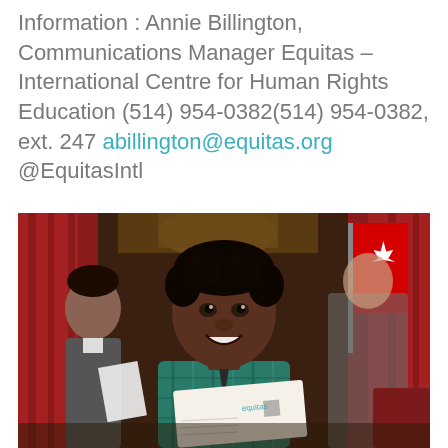Information : Annie Billington, Communications Manager Equitas – International Centre for Human Rights Education (514) 954-0382(514) 954-0382, ext. 247 abillington@equitas.org @EquitasIntl
[Figure (photo): A smiling young boy of African descent holding an Equitas postcard/letter, standing in an ornate room with Canadian flags and other children visible in the background.]